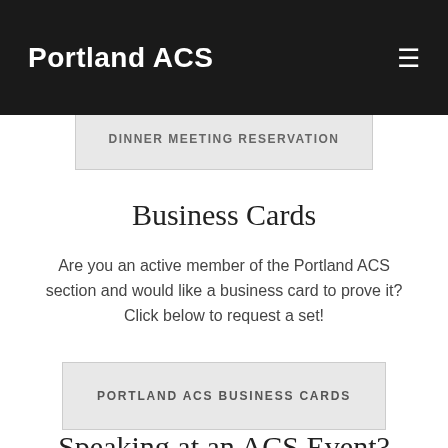and RSVP for the dinner by the due date using the link
Portland ACS
DINNER MEETING RESERVATION
Business Cards
Are you an active member of the Portland ACS section and would like a business card to prove it? Click below to request a set!
PORTLAND ACS BUSINESS CARDS
Speaking at an ACS Event?